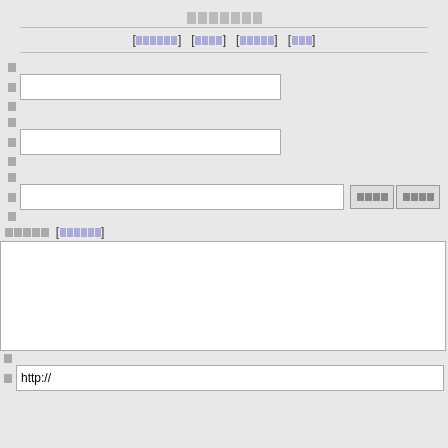□□□□□□□
[□□□□□□] [□□□□] [□□□□□] [□□□]
□
□
□
□
□
□
□
□□□□□  [□□□□□□]
□
□
http://